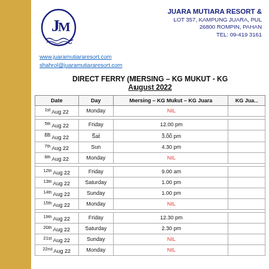[Figure (logo): Juara Mutiara Resort logo with stylized JM letters and waves]
JUARA MUTIARA RESORT &
LOT 357, KAMPUNG JUARA, PULAU
26800 ROMPIN, PAHANG
TEL: 09-419 3161
www.juaramutiararesort.com
shahrol@juaramutiararesort.com
DIRECT FERRY (MERSING – KG MUKUT - KG
August 2022
| Date | Day | Mersing – KG Mukut – KG Juara | KG Jua... |
| --- | --- | --- | --- |
| 1st Aug 22 | Monday | NIL |  |
|  |  |  |  |
| 5th Aug 22 | Friday | 12.00 pm |  |
| 6th Aug 22 | Sat | 3.00 pm |  |
| 7th Aug 22 | Sun | 4.30 pm |  |
| 8th Aug 22 | Monday | NIL |  |
|  |  |  |  |
| 12th Aug 22 | Friday | 9.00 am |  |
| 13th Aug 22 | Saturday | 1.00 pm |  |
| 14th Aug 22 | Sunday | 1.00 pm |  |
| 15th Aug 22 | Monday | NIL |  |
|  |  |  |  |
| 19th Aug 22 | Friday | 12.30 pm |  |
| 20th Aug 22 | Saturday | 2.30 pm |  |
| 21st Aug 22 | Sunday | NIL |  |
| 22nd Aug 22 | Monday | NIL |  |